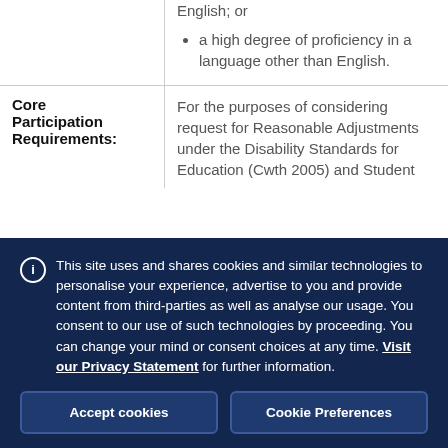|  | English; or
• a high degree of proficiency in a language other than English. |
| Core Participation Requirements: | For the purposes of considering request for Reasonable Adjustments under the Disability Standards for Education (Cwth 2005) and Student |
This site uses and shares cookies and similar technologies to personalise your experience, advertise to you and provide content from third-parties as well as analyse our usage. You consent to our use of such technologies by proceeding. You can change your mind or consent choices at any time. Visit our Privacy Statement for further information.